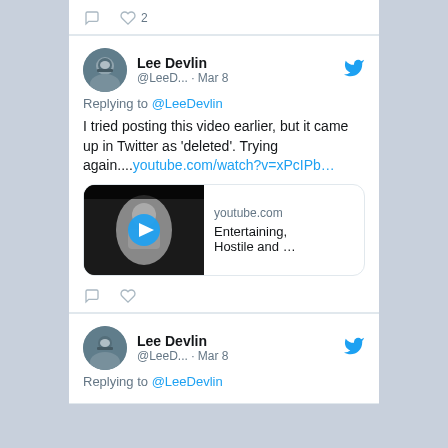[Figure (screenshot): Twitter/social media feed screenshot showing tweets by Lee Devlin]
Lee Devlin @LeeD... · Mar 8
Replying to @LeeDevlin
I tried posting this video earlier, but it came up in Twitter as 'deleted'.  Trying again....youtube.com/watch?v=xPcIPb...
[Figure (screenshot): YouTube video preview card showing 'Entertaining, Hostile and ...' at youtube.com with a play button thumbnail]
Lee Devlin @LeeD... · Mar 8
Replying to @LeeDevlin